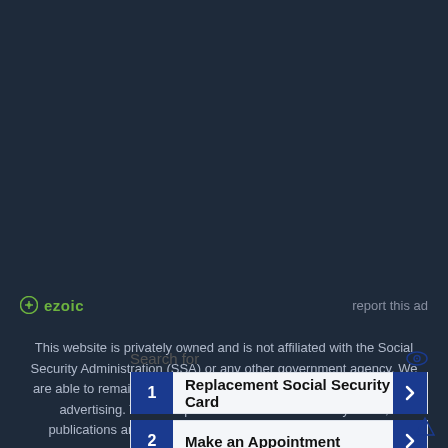[Figure (other): Dark navy background advertisement area with ezoic logo and 'report this ad' link]
This website is privately owned and is not affiliated with the Social Security Administration (SSA) or any other government agency. We are able to remain cost-free for users by utilizing third-party on-site advertising. The SSA provides free Social Security forms, publications and assistance. Contact the SSA directly for free services & support.
Search for
1 Replacement Social Security Card
2 Make an Appointment